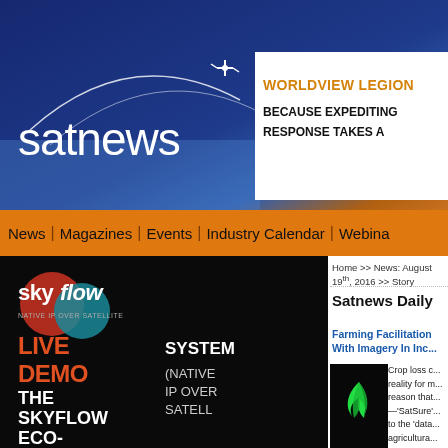[Figure (logo): Satnews website header banner with satnews logo (white text on dark blue/gradient background) and WorldView Legion advertisement on right side (white background with orange and black text: WORLDVIEW LEGION / BECAUSE EXPEDITING / RESPONSE TAKES A...)]
News | Magazines | Events | Industry Calendar | Webina...
[Figure (screenshot): Skyflow advertisement: black background with sky/flow logo, red/teal circles, text: LIVE DEMO THE SKYFLOW ECO-SYSTEM (NATIVE IP OVER SATELLITE)]
Home >> News: August 19th, 2016 >> Story
Satnews Daily
Farming Facilitation With Imagery In Inc...
[Figure (logo): SatSure company logo: green leaf-like flame icon on black background with 'SatSure' text in white]
Crop loss c... reality for m... reason that... —'SatSure'... to the 'data... agricultura...